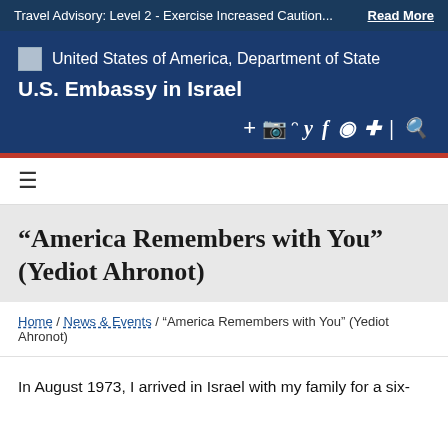Travel Advisory: Level 2 - Exercise Increased Caution... Read More
United States of America, Department of State
U.S. Embassy in Israel
☰
“America Remembers with You” (Yediot Ahronot)
Home / News & Events / “America Remembers with You” (Yediot Ahronot)
In August 1973, I arrived in Israel with my family for a six-